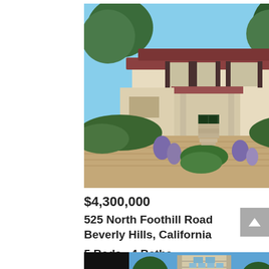[Figure (photo): Exterior photo of a Spanish-style residential home at 525 North Foothill Road, Beverly Hills, California. The house has a terracotta tile roof, yellow/cream stucco exterior, dark shutters, a covered entry portico, and is surrounded by lush green landscaping with purple flowering plants and a brick paver driveway.]
$4,300,000
525 North Foothill Road
Beverly Hills, California

5 Beds,  4 Baths
[Figure (photo): Partial view of a second property listing photo showing a modern high-rise building against a blue sky, with black panels on the sides.]